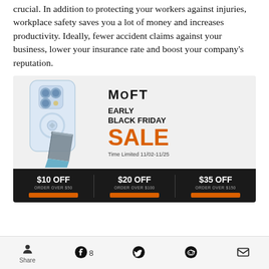crucial. In addition to protecting your workers against injuries, workplace safety saves you a lot of money and increases productivity. Ideally, fewer accident claims against your business, lower your insurance rate and boost your company's reputation.
[Figure (infographic): MOFT Early Black Friday Sale advertisement. Shows a light blue iPhone case with a foldable stand accessory. Right side shows MOFT logo, 'EARLY BLACK FRIDAY SALE' text with sale in orange, 'Time Limited 11/02-11/25'. Bottom dark bar shows three offers: $10 OFF ORDER OVER $50, $20 OFF ORDER OVER $100, $35 OFF ORDER OVER $150, each with an orange button.]
Share  8  (Facebook, Twitter, Reddit, Email icons)